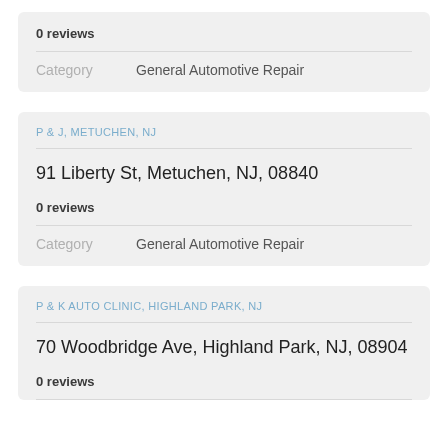0 reviews
Category    General Automotive Repair
P & J, METUCHEN, NJ
91 Liberty St, Metuchen, NJ, 08840
0 reviews
Category    General Automotive Repair
P & K AUTO CLINIC, HIGHLAND PARK, NJ
70 Woodbridge Ave, Highland Park, NJ, 08904
0 reviews